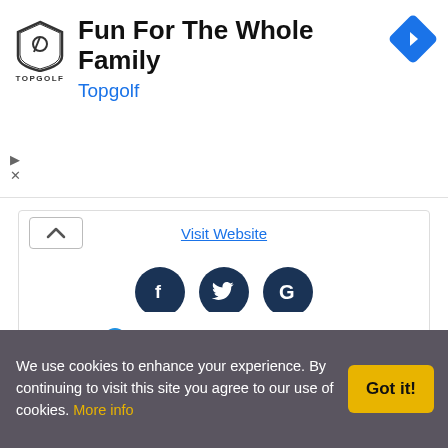[Figure (infographic): Topgolf advertisement banner with shield logo, headline 'Fun For The Whole Family', blue 'Topgolf' subtext, and blue diamond navigation icon]
Visit Website
[Figure (infographic): Social media icons: Facebook, Twitter, Google in dark navy circles]
[Figure (logo): First Church UCC logo with colorful figure shapes (red, blue, green, yellow) and bold text 'First Church | UCC']
We use cookies to enhance your experience. By continuing to visit this site you agree to our use of cookies. More info
Got it!